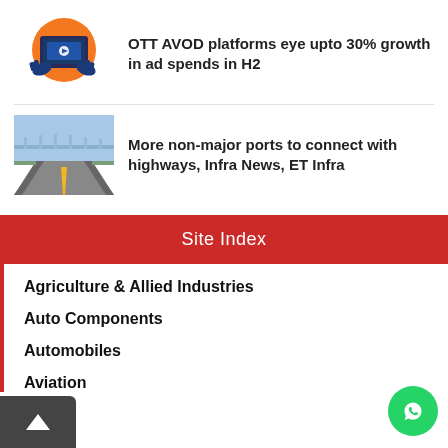[Figure (illustration): OTT platform illustration: orange circle with tablet device and hands icon]
OTT AVOD platforms eye upto 30% growth in ad spends in H2
[Figure (photo): Road/highway photo showing a bridge or elevated road with blue sky]
More non-major ports to connect with highways, Infra News, ET Infra
Site Index
Agriculture & Allied Industries
Auto Components
Automobiles
Aviation